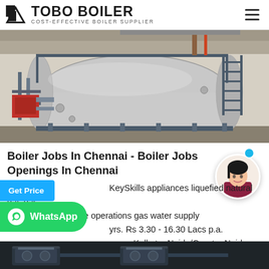TOBO BOILER — COST-EFFECTIVE BOILER SUPPLIER
[Figure (photo): Industrial boiler — large cylindrical stainless steel boiler tank in a factory/plant setting with piping, ladders, and red burner unit visible]
Boiler Jobs In Chennai - Boiler Jobs Openings In Chennai
KeySkills appliances liquefied natural gas gas distribution onshore operations gas water supply yrs. Rs 3.30 - 16.30 Lacs p.a. goan, Kolkata, Noida/Greater Noida....
[Figure (photo): Bottom strip of industrial boiler equipment photo]